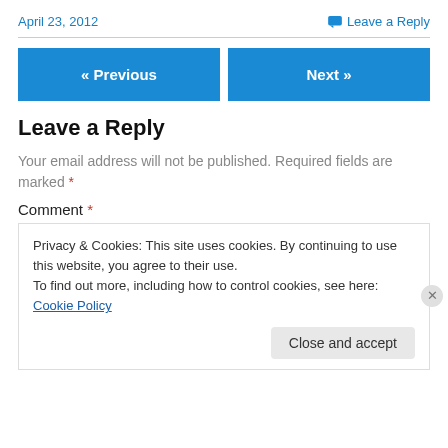April 23, 2012
Leave a Reply
« Previous
Next »
Leave a Reply
Your email address will not be published. Required fields are marked *
Comment *
Privacy & Cookies: This site uses cookies. By continuing to use this website, you agree to their use.
To find out more, including how to control cookies, see here: Cookie Policy
Close and accept